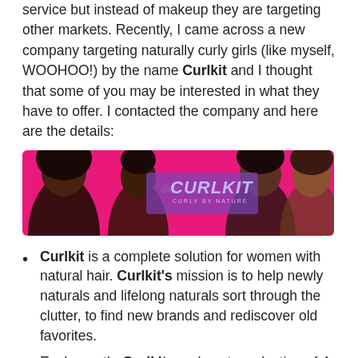service but instead of makeup they are targeting other markets. Recently, I came across a new company targeting naturally curly girls (like myself, WOOHOO!) by the name Curlkit and I thought that some of you may be interested in what they have to offer. I contacted the company and here are the details:
[Figure (photo): Curlkit banner on pink background with four women with natural curly hair and the Curlkit logo with tagline 'Curly by Nature']
Curlkit is a complete solution for women with natural hair. Curlkit's mission is to help newly naturals and lifelong naturals sort through the clutter, to find new brands and rediscover old favorites.
Each month, Curlkit sends out a selection of 4-5 samples that their team of online experts, researches and even tries themselves. In each Curlkit you'll receive everything from pomades and conditioners to natural hair tools, from well-known brands as well as emerging gems